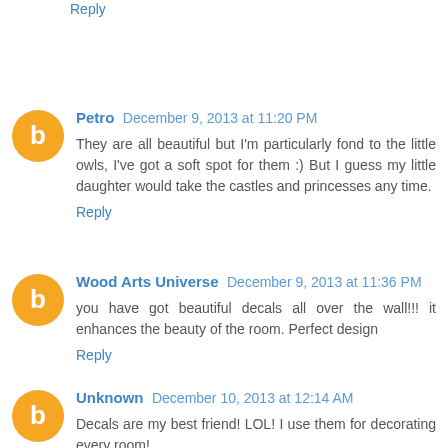Reply
Petro December 9, 2013 at 11:20 PM
They are all beautiful but I'm particularly fond to the little owls, I've got a soft spot for them :) But I guess my little daughter would take the castles and princesses any time.
Reply
Wood Arts Universe December 9, 2013 at 11:36 PM
you have got beautiful decals all over the wall!!! it enhances the beauty of the room. Perfect design
Reply
Unknown December 10, 2013 at 12:14 AM
Decals are my best friend! LOL! I use them for decorating every room!
Reply